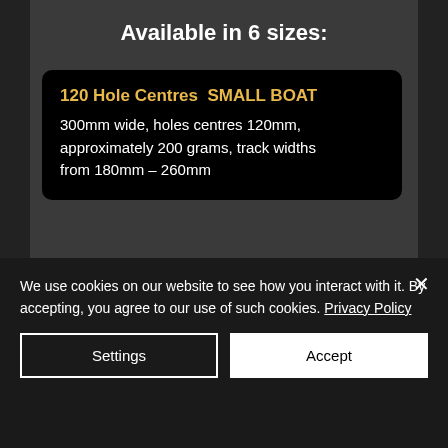Available in 6 sizes:
120 Hole Centres  SMALL BOAT
300mm wide, holes centres 120mm, approximately 200 grams, track widths from 180mm – 260mm
130 Hole Centres  SMALL BOAT
300mm wide, holes centres 130mm, approximately 200 grams, track
We use cookies on our website to see how you interact with it. By accepting, you agree to our use of such cookies. Privacy Policy
Settings
Accept